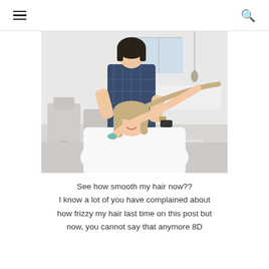☰  🔍
[Figure (photo): A woman sitting in a hair salon chair wearing a white cape, holding up a strand of her long smooth hair, while a female hairstylist stands behind her working on her hair. The salon interior is bright and modern with white chairs visible in the background.]
See how smooth my hair now??
I know a lot of you have complained about how frizzy my hair last time on this post but now, you cannot say that anymore 8D